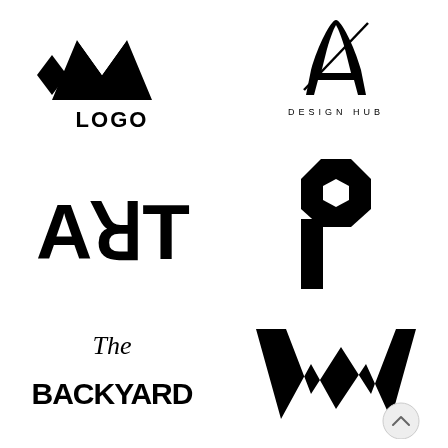[Figure (logo): MW Logo - bold geometric M and W lettermark with 'LOGO' text beneath]
[Figure (logo): A Design Hub - stylized calligraphic letter A with 'DESIGN HUB' spaced text beneath]
[Figure (logo): ART - bold black text logo with reversed R character]
[Figure (logo): P - bold geometric hexagonal P lettermark logo]
[Figure (logo): The Backyard - handwritten style text logo]
[Figure (logo): W - bold black W lettermark logo]